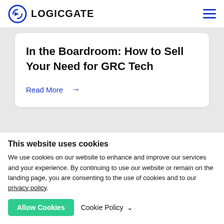LOGICGATE
In the Boardroom: How to Sell Your Need for GRC Tech
Read More →
This website uses cookies
We use cookies on our website to enhance and improve our services and your experience. By continuing to use our website or remain on the landing page, you are consenting to the use of cookies and to our privacy policy.
Allow Cookies   Cookie Policy ∨